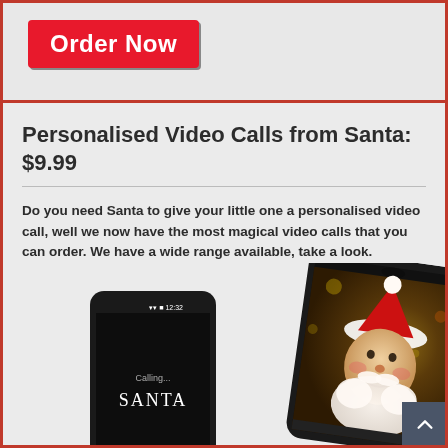Order Now
Personalised Video Calls from Santa: $9.99
Do you need Santa to give your little one a personalised video call, well we now have the most magical video calls that you can order. We have a wide range available, take a look.
[Figure (photo): Two smartphones shown at an angle. The left phone displays a dark screen with text 'Calling... SANTA'. The right phone shows Santa Claus on a video call screen with Christmas tree bokeh lights in background.]